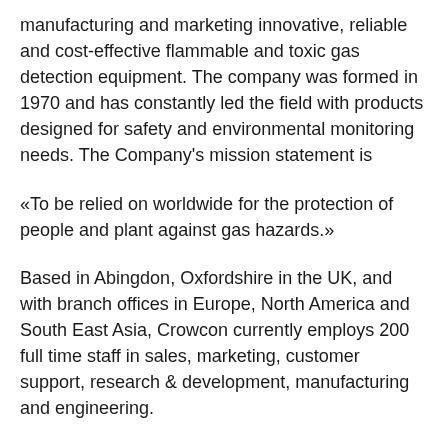manufacturing and marketing innovative, reliable and cost-effective flammable and toxic gas detection equipment. The company was formed in 1970 and has constantly led the field with products designed for safety and environmental monitoring needs. The Company's mission statement is
«To be relied on worldwide for the protection of people and plant against gas hazards.»
Based in Abingdon, Oxfordshire in the UK, and with branch offices in Europe, North America and South East Asia, Crowcon currently employs 200 full time staff in sales, marketing, customer support, research & development, manufacturing and engineering.
Crowcon products are sold throughout the world, serving oil, gas and petrochemical companies, public utilities, clean water and sewage treatment companies, fire brigades, construction companies and other organisations who consider blade...